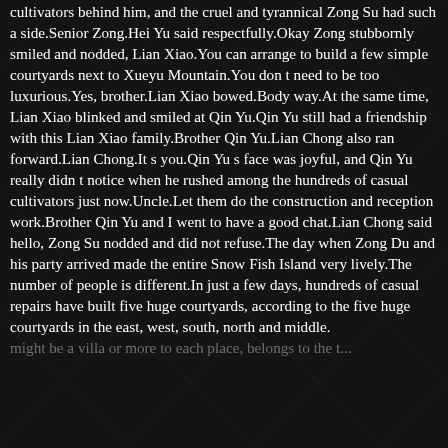cultivators behind him, and the cruel and tyrannical Zong Su had such a side.Senior Zong.Hei Yu said respectfully.Okay Zong stubbornly smiled and nodded, Lian Xiao.You can arrange to build a few simple courtyards next to Xueyu Mountain.You don t need to be too luxurious.Yes, brother.Lian Xiao bowed.Body way.At the same time, Lian Xiao blinked and smiled at Qin Yu.Qin Yu still had a friendship with this Lian Xiao family.Brother Qin Yu.Lian Chong also ran forward.Lian Chong.It s you.Qin Yu s face was joyful, and Qin Yu really didn t notice when he rushed among the hundreds of casual cultivators just now.Uncle.Let them do the construction and reception work.Brother Qin Yu and I went to have a good chat.Lian Chong said hello, Zong Su nodded and did not refuse.The day when Zong Du and his party arrived made the entire Snow Fish Island very lively.The number of people is different.In just a few days, hundreds of casual repairs have built five huge courtyards, according to the five huge courtyards in the east, west, south, north and middle.
might be a villa or more to each place, belongs to the t...